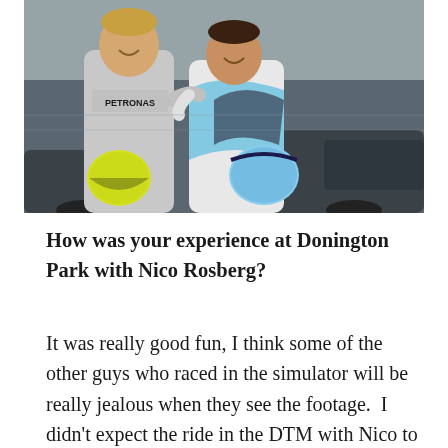[Figure (photo): Two racing drivers in race suits standing together smiling. The one on the left wears a silver Mercedes-Petronas suit and holds a yellow helmet. The one on the right wears a light blue and white race suit and holds a blue and white helmet. A car is visible in the background.]
How was your experience at Donington Park with Nico Rosberg?
It was really good fun, I think some of the other guys who raced in the simulator will be really jealous when they see the footage.  I didn't expect the ride in the DTM with Nico to